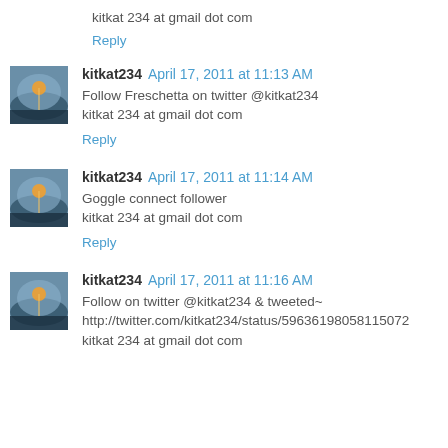kitkat 234 at gmail dot com
Reply
kitkat234 April 17, 2011 at 11:13 AM
Follow Freschetta on twitter @kitkat234
kitkat 234 at gmail dot com
Reply
kitkat234 April 17, 2011 at 11:14 AM
Goggle connect follower
kitkat 234 at gmail dot com
Reply
kitkat234 April 17, 2011 at 11:16 AM
Follow on twitter @kitkat234 & tweeted~
http://twitter.com/kitkat234/status/59636198058115072
kitkat 234 at gmail dot com